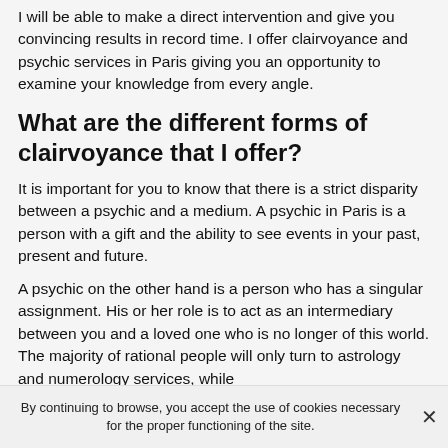I will be able to make a direct intervention and give you convincing results in record time. I offer clairvoyance and psychic services in Paris giving you an opportunity to examine your knowledge from every angle.
What are the different forms of clairvoyance that I offer?
It is important for you to know that there is a strict disparity between a psychic and a medium. A psychic in Paris is a person with a gift and the ability to see events in your past, present and future.
A psychic on the other hand is a person who has a singular assignment. His or her role is to act as an intermediary between you and a loved one who is no longer of this world. The majority of rational people will only turn to astrology and numerology services, while
By continuing to browse, you accept the use of cookies necessary for the proper functioning of the site.